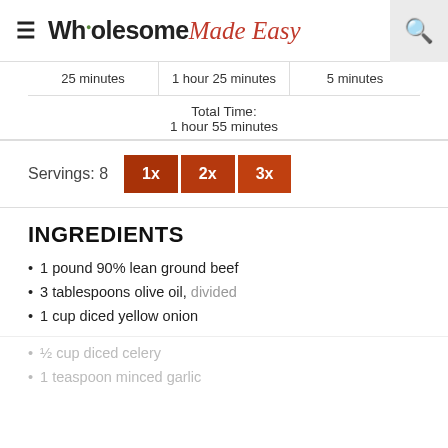Wholesome Made Easy
| 25 minutes | 1 hour 25 minutes | 5 minutes |
| --- | --- | --- |
| Total Time: |  |  |
| 1 hour 55 minutes |  |  |
Servings: 8  1x  2x  3x
INGREDIENTS
1 pound 90% lean ground beef
3 tablespoons olive oil, divided
1 cup diced yellow onion
½ cup diced celery
1 teaspoon minced garlic